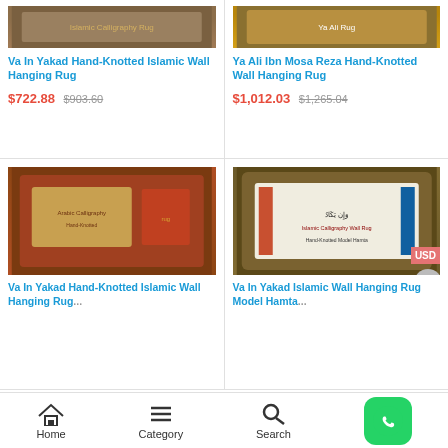[Figure (photo): Va In Yakad Hand-Knotted Islamic Wall Hanging Rug product image top]
Va In Yakad Hand-Knotted Islamic Wall Hanging Rug
$722.88 $903.60
[Figure (photo): Ya Ali Ibn Mosa Reza Hand-Knotted Wall Hanging Rug product image top]
Ya Ali Ibn Mosa Reza Hand-Knotted Wall Hanging Rug
$1,012.03 $1,265.04
[Figure (photo): Va In Yakad Hand-Knotted Islamic Wall Hanging Rug product image bottom left]
Va In Yakad Hand-Knotted Islamic Wall Hanging Rug
[Figure (photo): Va In Yakad Islamic Wall Hanging Rug Model Hamta product image bottom right]
Va In Yakad Islamic Wall Hanging Rug Model Hamta
Home  Category  Search